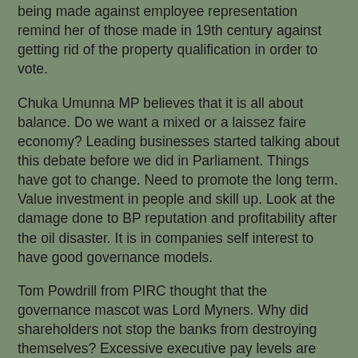being made against employee representation remind her of those made in 19th century against getting rid of the property qualification in order to vote.
Chuka Umunna MP believes that it is all about balance. Do we want a mixed or a laissez faire economy? Leading businesses started talking about this debate before we did in Parliament. Things have got to change. Need to promote the long term. Value investment in people and skill up. Look at the damage done to BP reputation and profitability after the oil disaster. It is in companies self interest to have good governance models.
Tom Powdrill from PIRC thought that the governance mascot was Lord Myners. Why did shareholders not stop the banks from destroying themselves? Excessive executive pay levels are being driven to the levels found in financial markets. Since oversight is not by shareholders but by fund managers and hedge funds who naturally will think such levels are appropriate. Need a dose of reality. Tackle the problem up stream before a decision is made.  UK Companies already invest in Europe where employee representatives are widely